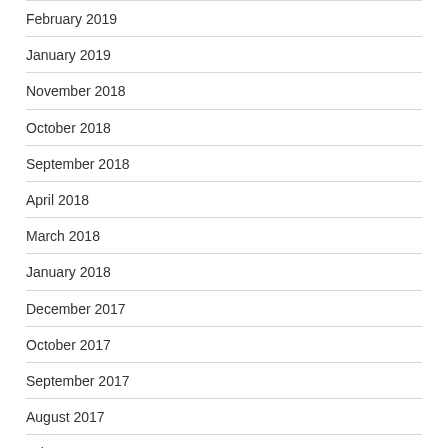February 2019
January 2019
November 2018
October 2018
September 2018
April 2018
March 2018
January 2018
December 2017
October 2017
September 2017
August 2017
July 2017